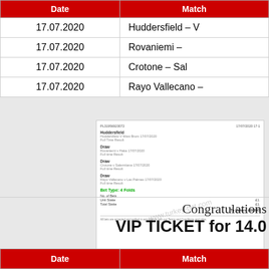| Date | Match |
| --- | --- |
| 17.07.2020 | Huddersfield – V |
| 17.07.2020 | Rovaniemi – |
| 17.07.2020 | Crotone – Sal |
| 17.07.2020 | Rayo Vallecano – |
[Figure (screenshot): Betting ticket screenshot showing 4 selections from 17/07/2020: Huddersfield (Full Time Result), Draw (Rovaniemi v Haka), Draw (Crotone v Salernitana), Draw (Rayo Vallecano v Las Palmas). Bet Type: 4 Folds. To Return £00045. Watermark: www.turkey-bet.com]
Congratulations
VIP TICKET for 14.0
| Date | Match |
| --- | --- |